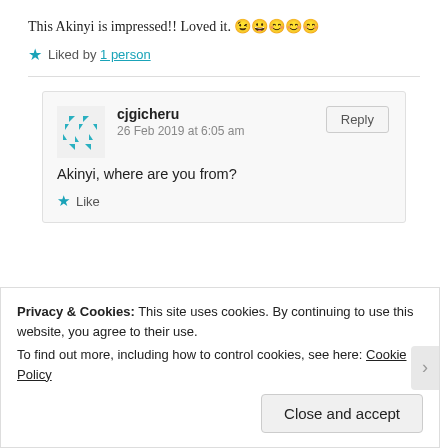This Akinyi is impressed!! Loved it. 😉😀😊😊😊
★ Liked by 1 person
cjgicheru
26 Feb 2019 at 6:05 am

Akinyi, where are you from?

★ Like
Privacy & Cookies: This site uses cookies. By continuing to use this website, you agree to their use.
To find out more, including how to control cookies, see here: Cookie Policy
Close and accept